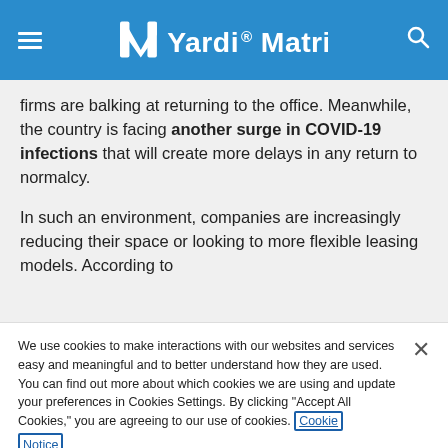Yardi Matrix
firms are balking at returning to the office. Meanwhile, the country is facing another surge in COVID-19 infections that will create more delays in any return to normalcy.
In such an environment, companies are increasingly reducing their space or looking to more flexible leasing models. According to
We use cookies to make interactions with our websites and services easy and meaningful and to better understand how they are used. You can find out more about which cookies we are using and update your preferences in Cookies Settings. By clicking "Accept All Cookies," you are agreeing to our use of cookies. Cookie Notice